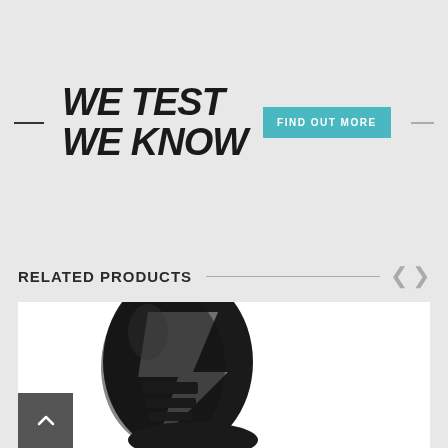WE TEST WE KNOW
FIND OUT MORE
RELATED PRODUCTS
[Figure (photo): Black and grey shin guard / sports protective equipment product photo on white background]